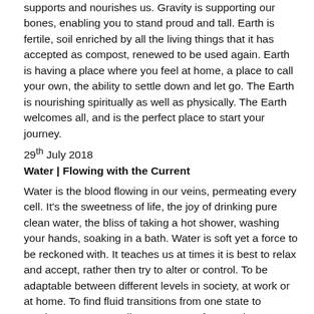supports and nourishes us. Gravity is supporting our bones, enabling you to stand proud and tall. Earth is fertile, soil enriched by all the living things that it has accepted as compost, renewed to be used again. Earth is having a place where you feel at home, a place to call your own, the ability to settle down and let go. The Earth is nourishing spiritually as well as physically. The Earth welcomes all, and is the perfect place to start your journey.
29th July 2018
Water | Flowing with the Current
Water is the blood flowing in our veins, permeating every cell. It's the sweetness of life, the joy of drinking pure clean water, the bliss of taking a hot shower, washing your hands, soaking in a bath. Water is soft yet a force to be reckoned with. It teaches us at times it is best to relax and accept, rather then try to alter or control. To be adaptable between different levels in society, at work or at home. To find fluid transitions from one state to another. From one cell to two, two to four, we have we have started life without physical or